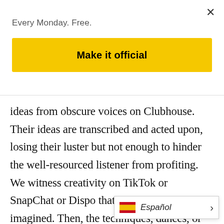Every Monday. Free.
Make it official
ideas from obscure voices on Clubhouse. Their ideas are transcribed and acted upon, losing their luster but not enough to hinder the well-resourced listener from profiting. We witness creativity on TikTok or SnapChat or Dispo that we could have never imagined. Then, the techniques, dances, or meme formats become public domain. We even attach ourselves to foreign creators who've captivated American audiences through their intensity, prolific work, nd the more of the
Español